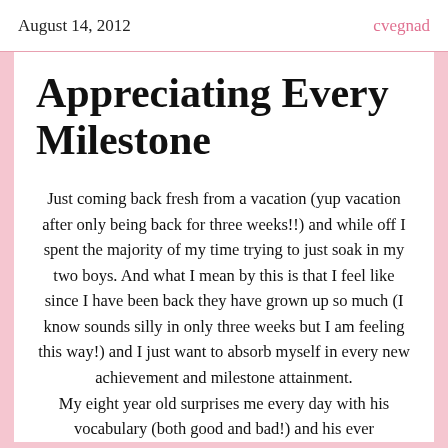August 14, 2012    cvegnad
Appreciating Every Milestone
Just coming back fresh from a vacation (yup vacation after only being back for three weeks!!) and while off I spent the majority of my time trying to just soak in my two boys. And what I mean by this is that I feel like since I have been back they have grown up so much (I know sounds silly in only three weeks but I am feeling this way!) and I just want to absorb myself in every new achievement and milestone attainment. My eight year old surprises me every day with his vocabulary (both good and bad!) and his ever astounding soccer skills. This past week I was so